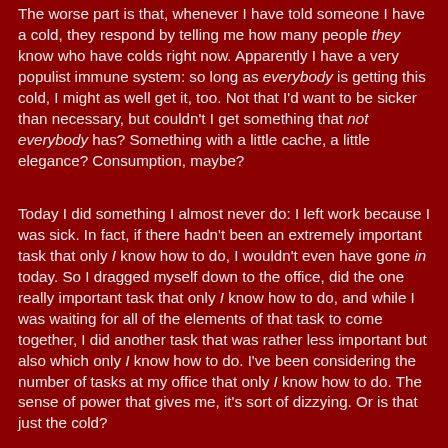The worse part is that, whenever I have told someone I have a cold, they respond by telling me how many people they know who have colds right now. Apparently I have a very populist immune system: so long as everybody is getting this cold, I might as well get it, too. Not that I'd want to be sicker than necessary, but couldn't I get something that not everybody has? Something with a little cache, a little elegance? Consumption, maybe?
Today I did something I almost never do: I left work because I was sick. In fact, if there hadn't been an extremely important task that only I know how to do, I wouldn't even have gone in today. So I dragged myself down to the office, did the one really important task that only I know how to do, and while I was waiting for all of the elements of that task to come together, I did another task that was rather less important but also which only I know how to do. I've been considering the number of tasks at my office that only I know how to do. The sense of power that gives me, it's sort of dizzying. Or is that just the cold?